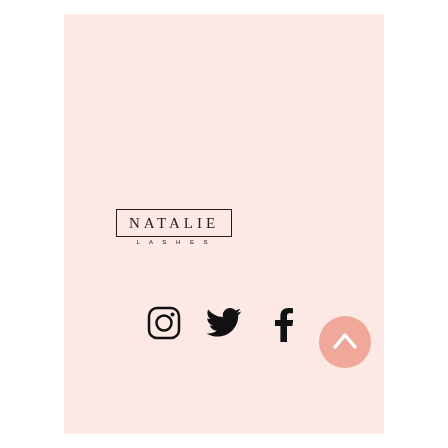[Figure (logo): Natalie Lashes logo: the word NATALIE in serif spaced capitals inside a thin rectangle border, with LASHES in small spaced capitals below]
[Figure (infographic): Three social media icons in black: Instagram camera icon, Twitter bird icon, Facebook f icon, arranged horizontally. A pink circle with an upward chevron arrow is positioned to the lower right.]